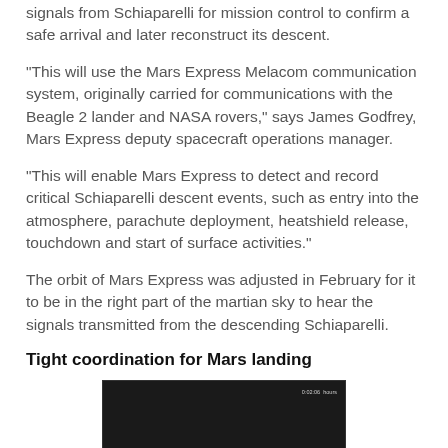signals from Schiaparelli for mission control to confirm a safe arrival and later reconstruct its descent.
“This will use the Mars Express Melacom communication system, originally carried for communications with the Beagle 2 lander and NASA rovers,” says James Godfrey, Mars Express deputy spacecraft operations manager.
“This will enable Mars Express to detect and record critical Schiaparelli descent events, such as entry into the atmosphere, parachute deployment, heatshield release, touchdown and start of surface activities.”
The orbit of Mars Express was adjusted in February for it to be in the right part of the martian sky to hear the signals transmitted from the descending Schiaparelli.
Tight coordination for Mars landing
[Figure (screenshot): Video frame showing a dark screen with ESA logo in the lower left and telemetry data overlaid in the lower right, including Altitude Trace Gas Orbiter and Altitude Schiaparelli readings with a timer in the upper right.]